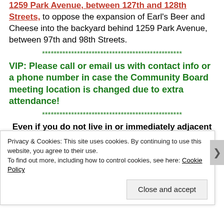1259 Park Avenue, between 127th and 128th Streets, to oppose the expansion of Earl's Beer and Cheese into the backyard behind 1259 Park Avenue, between 97th and 98th Streets.
**************************************************
VIP: Please call or email us with contact info or a phone number in case the Community Board meeting location is changed due to extra attendance!
**************************************************
Even if you do not live in or immediately adjacent to 1259 Park, YOUR BUILDING WILL BE EXPOSED TO THE NOISE, cooking smells and cigarette smoke; and if this bar is allowed to expand, our 97-98 Lexington/Park Avenue neighborhood will turn into a haven for loud,
Privacy & Cookies: This site uses cookies. By continuing to use this website, you agree to their use.
To find out more, including how to control cookies, see here: Cookie Policy
Close and accept